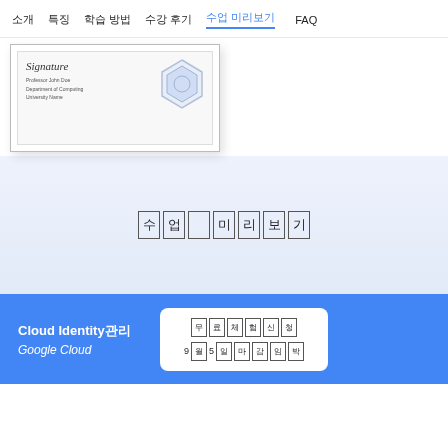소개   특징   학습 방법   수강 후기   수업 미리보기   FAQ
[Figure (illustration): Partial certificate document with signature and badge/seal]
수업 미리보기 (boxed characters)
Cloud Identity관리 Google Cloud
무료체험 9월5일 마감임박